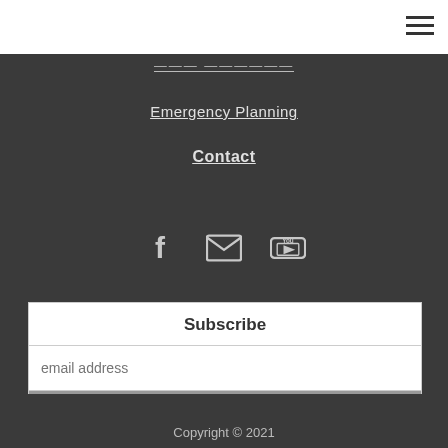≡ (hamburger menu icon)
Emergency Planning
Contact
[Figure (infographic): Social media icons row: Facebook (f), Email (envelope), YouTube (You tube logo)]
Subscribe
email address (input field placeholder)
Subscribe (button)
Copyright © 2021